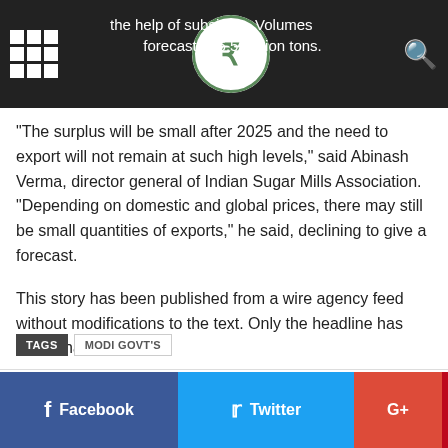the help of subsidies. Volumes forecast at 6.5 million tons.
“The surplus will be small after 2025 and the need to export will not remain at such high levels,” said Abinash Verma, director general of Indian Sugar Mills Association. “Depending on domestic and global prices, there may still be small quantities of exports,” he said, declining to give a forecast.
This story has been published from a wire agency feed without modifications to the text. Only the headline has been changed.
Never miss a story! Stay connected and informed with Mint. Download our App Now!!
Petrol prices today: Fuel rates static for 19th consecutive day
TAGS   MODI GOVT’S
Facebook   Twitter   G+   Pinterest   WhatsApp